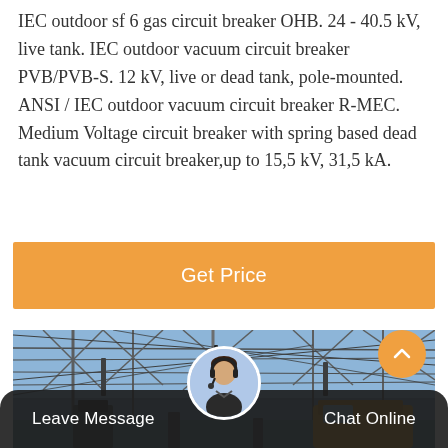IEC outdoor sf 6 gas circuit breaker OHB. 24 - 40.5 kV, live tank. IEC outdoor vacuum circuit breaker PVB/PVB-S. 12 kV, live or dead tank, pole-mounted. ANSI / IEC outdoor vacuum circuit breaker R-MEC. Medium Voltage circuit breaker with spring based dead tank vacuum circuit breaker,up to 15,5 kV, 31,5 kA.
Get Price
[Figure (photo): Outdoor electrical substation with high-voltage transmission towers, metal framework, insulators, and a yellow vehicle or equipment visible in the lower right. Blue sky in background.]
Leave Message
Chat Online